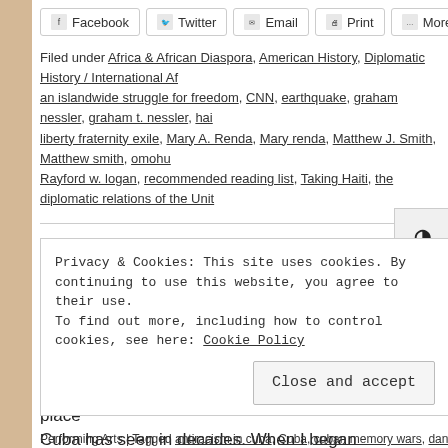Facebook | Twitter | Email | Print | More
Filed under Africa & African Diaspora, American History, Diplomatic History / International Af... an islandwide struggle for freedom, CNN, earthquake, graham nessler, graham t. nessler, hai... liberty fraternity exile, Mary A. Renda, Mary renda, Matthew J. Smith, Matthew smith, omohu... Rayford w. logan, recommended reading list, Taking Haiti, the diplomatic relations of the Unit...
Cuba's Fight for Freedom: A Recomme...
Posted by Phillip Loken on 12 July 2021, 3:25 pm
Due to the protests happening in Cuba currently, we've c... freedom. This isn't the first time revolts have taken place... Cuba has seen in decades. When I began researching... Continue...
Privacy & Cookies: This site uses cookies. By continuing to use this website, you agree to their use.
To find out more, including how to control cookies, see here: Cookie Policy
Close and accept
Performing Arts | Tagged antiracism in cuba, Cuba, cuban memory wars, dancing with the re...